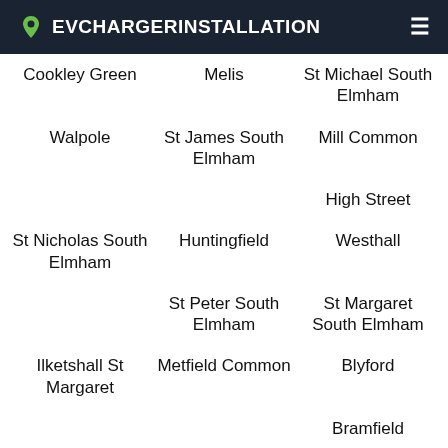EVCHARGERINSTALLATION
Cookley Green
Melis
St Michael South Elmham
Walpole
St James South Elmham
Mill Common
High Street
St Nicholas South Elmham
Huntingfield
Westhall
St Peter South Elmham
St Margaret South Elmham
Ilketshall St Margaret
Metfield Common
Blyford
Bramfield
Bickers Heath
Sotherton Corner
Redisham